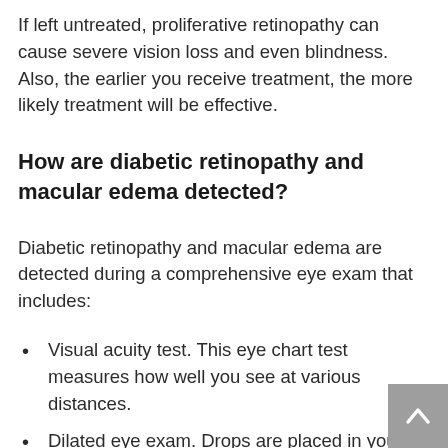If left untreated, proliferative retinopathy can cause severe vision loss and even blindness. Also, the earlier you receive treatment, the more likely treatment will be effective.
How are diabetic retinopathy and macular edema detected?
Diabetic retinopathy and macular edema are detected during a comprehensive eye exam that includes:
Visual acuity test. This eye chart test measures how well you see at various distances.
Dilated eye exam. Drops are placed in your eyes to widen, or dilate, the pupils. This allows the eye care